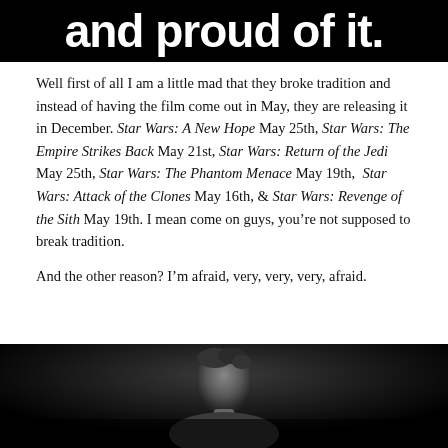[Figure (photo): Black background with large white bold text reading 'and proud of it.']
Well first of all I am a little mad that they broke tradition and instead of having the film come out in May, they are releasing it in December. Star Wars: A New Hope May 25th, Star Wars: The Empire Strikes Back May 21st, Star Wars: Return of the Jedi May 25th, Star Wars: The Phantom Menace May 19th, Star Wars: Attack of the Clones May 16th, & Star Wars: Revenge of the Sith May 19th. I mean come on guys, you’re not supposed to break tradition.
And the other reason? I’m afraid, very, very, very, afraid.
[Figure (photo): Dark/black and white photo of a person's face and upper body, dimly lit against a dark background.]